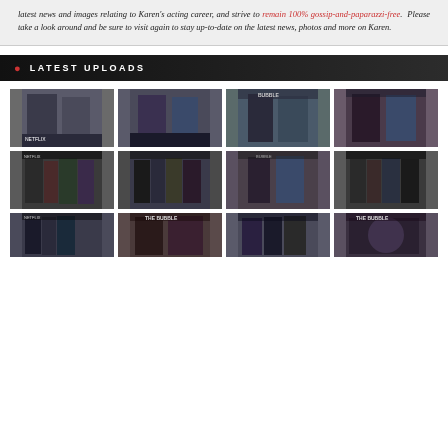latest news and images relating to Karen's acting career, and strive to remain 100% gossip-and-paparazzi-free. Please take a look around and be sure to visit again to stay up-to-date on the latest news, photos and more on Karen.
LATEST UPLOADS
[Figure (photo): Grid of 12 celebrity event photos showing people at what appears to be a movie premiere with 'The Bubble' backdrop. Photos show various combinations of male and female celebrities in formal attire.]